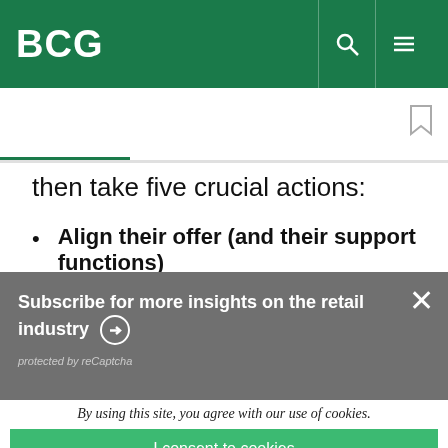BCG
then take five crucial actions:
Align their offer (and their support functions)
Subscribe for more insights on the retail industry
protected by reCaptcha
By using this site, you agree with our use of cookies.
I consent to cookies
Want to know more?
Read our Cookie Policy